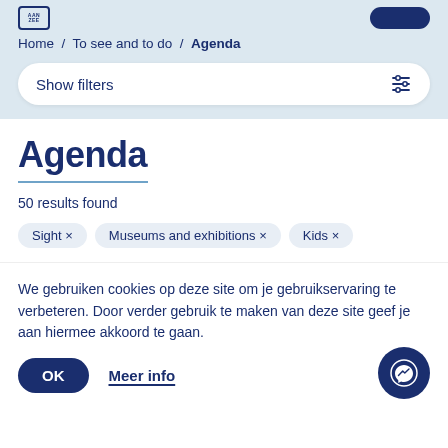AAN ZEE
Home / To see and to do / Agenda
Show filters
Agenda
50 results found
Sight ×
Museums and exhibitions ×
Kids ×
We gebruiken cookies op deze site om je gebruikservaring te verbeteren. Door verder gebruik te maken van deze site geef je aan hiermee akkoord te gaan.
OK
Meer info